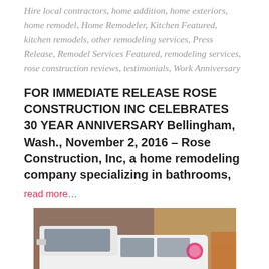Hire local contractors, home addition, home exteriors, home remodel, Home Remodeler, Kitchen Featured, kitchen remodels, other remodeling services, Press Release, Remodel Services Featured, remodeling services, rose construction reviews, testimonials, Work Anniversary
FOR IMMEDIATE RELEASE ROSE CONSTRUCTION INC CELEBRATES 30 YEAR ANNIVERSARY Bellingham, Wash., November 2, 2016 – Rose Construction, Inc, a home remodeling company specializing in bathrooms,
read more…
[Figure (photo): A white pickup truck or van parked, with a pink/red logo visible on the side, with construction materials or a truck bed visible in the background.]